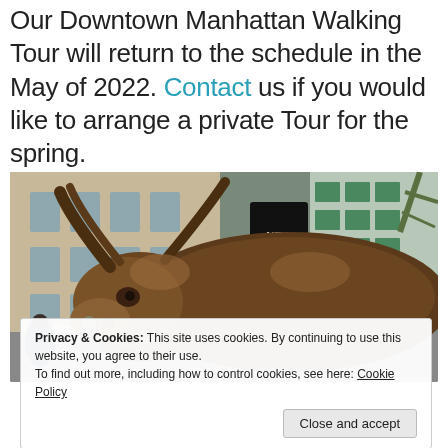Our Downtown Manhattan Walking Tour will return to the schedule in the May of 2022. Contact us if you would like to arrange a private Tour for the spring.
[Figure (photo): Close-up photo of the Charging Bull bronze sculpture in Lower Manhattan (Wall Street area), with city buildings visible in the background. A 'New York' pennant is visible. Street sign showing '26 ROAD' partially visible.]
Privacy & Cookies: This site uses cookies. By continuing to use this website, you agree to their use.
To find out more, including how to control cookies, see here: Cookie Policy

Close and accept